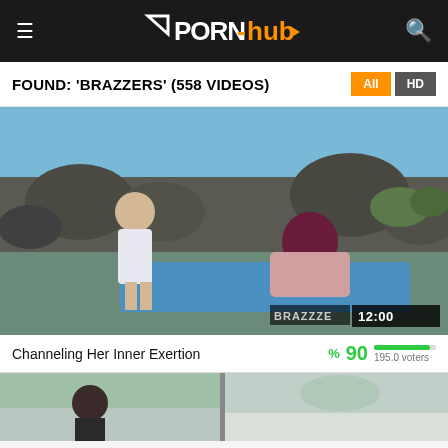PORN-hub [logo with hamburger menu and search icon]
FOUND: 'BRAZZERS' (558 VIDEOS)
[Figure (screenshot): Video thumbnail showing outdoor scene with duration badge '12:00' and Brazzers watermark]
Channeling Her Inner Exertion
%90  195.0 voters
[Figure (screenshot): Bottom partial video thumbnail showing another video]